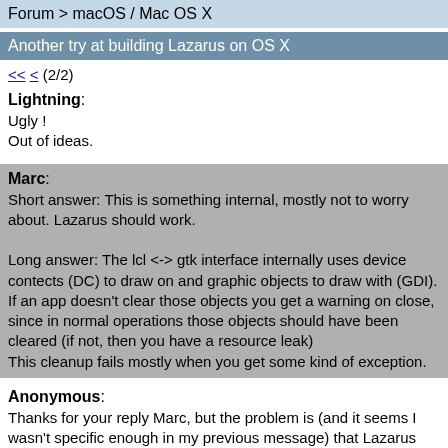Forum > macOS / Mac OS X
Another try at building Lazarus on OS X
<< < (2/2)
Lightning:
Ugly !
Out of ideas.
Marc:
Short answer: This is something internal, mostly not to worry about. Lazarus should work.

Long answer: The lcl <-> gtk interface internally uses device contects (DC) to draw on and graphic objects to draw with (GDI). If an app doesn't clear those objects you get a warning on close, since in normal operations those objects should have been cleared (if not, then you have a resource leak)
This cleanup fails mostly when you get some kind of exception.
Anonymous:
Thanks for your reply Marc, but the problem is (and it seems I wasn't specific enough in my previous message) that Lazarus doesn't launch. The error messages get dumped to vm terminal and